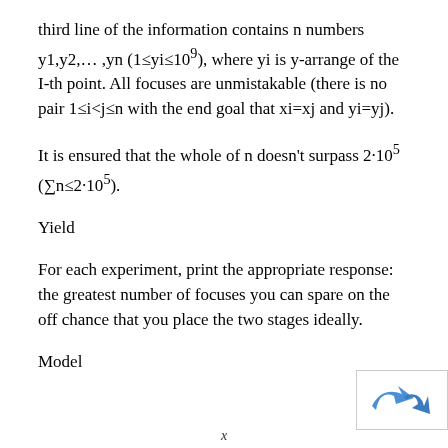third line of the information contains n numbers y1,y2,… ,yn (1≤yi≤109), where yi is y-arrange of the I-th point. All focuses are unmistakable (there is no pair 1≤i<j≤n with the end goal that xi=xj and yi=yj).
It is ensured that the whole of n doesn't surpass 2·105 (∑n≤2·105).
Yield
For each experiment, print the appropriate response: the greatest number of focuses you can spare on the off chance that you place the two stages ideally.
Model